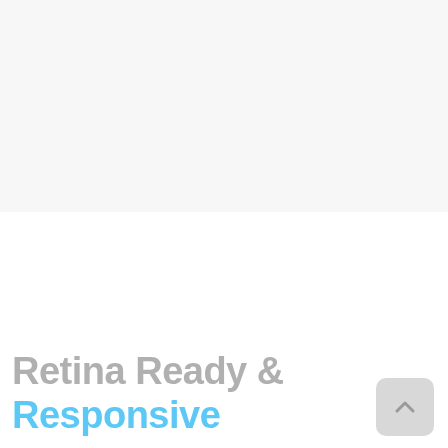[Figure (screenshot): Top half of page with light gray background, separated by a thin horizontal line from the bottom white section.]
Retina Ready & Responsive